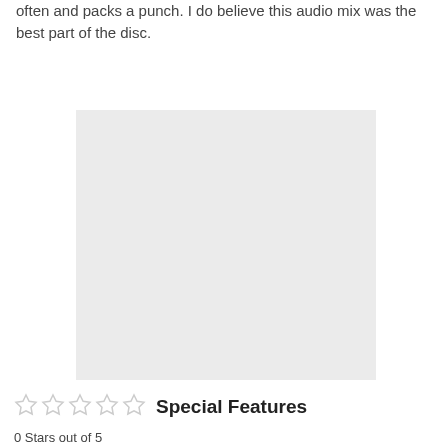often and packs a punch. I do believe this audio mix was the best part of the disc.
[Figure (photo): A blank light gray rectangular image placeholder]
Special Features
0 Stars out of 5